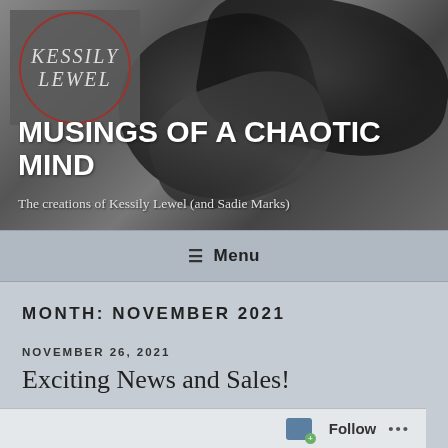[Figure (photo): Black and white photo of leather mechanical/camera equipment with logo overlay of Kessily Lewel blog]
MUSINGS OF A CHAOTIC MIND
The creations of Kessily Lewel (and Sadie Marks)
Menu
MONTH: NOVEMBER 2021
NOVEMBER 26, 2021
Exciting News and Sales!